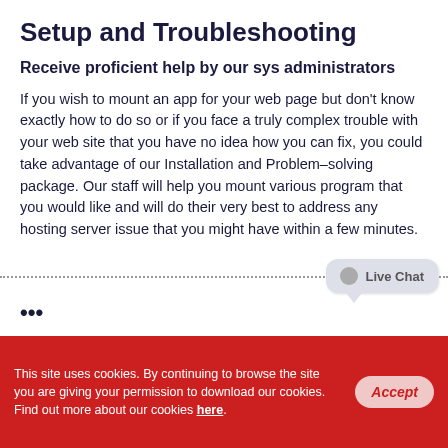Setup and Troubleshooting
Receive proficient help by our sys administrators
If you wish to mount an app for your web page but don't know exactly how to do so or if you face a truly complex trouble with your web site that you have no idea how you can fix, you could take advantage of our Installation and Problem–solving package. Our staff will help you mount various program that you would like and will do their very best to address any hosting server issue that you might have within a few minutes.
[Figure (other): Live Chat speech bubble button in the bottom right area]
This site uses cookies. By continuing to browse the site you are giving your permission to download our cookies. Find out more about our cookies here.